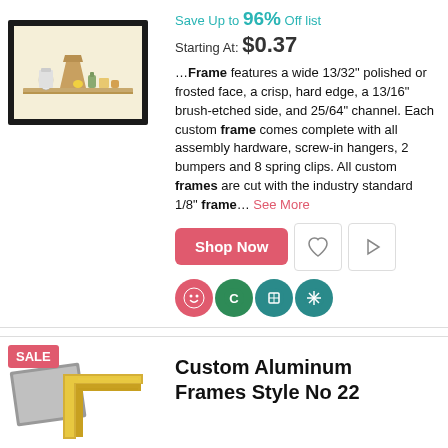[Figure (photo): Product photo of a black picture frame containing artwork of kitchen items on a shelf]
Save Up to 96% Off list
Starting At: $0.37
...Frame features a wide 13/32" polished or frosted face, a crisp, hard edge, a 13/16" brush-etched side, and 25/64" channel. Each custom frame comes complete with all assembly hardware, screw-in hangers, 2 bumpers and 8 spring clips. All custom frames are cut with the industry standard 1/8" frame... See More
[Figure (other): Shop Now button, heart icon button, play icon button, and four circular badge icons]
SALE
[Figure (photo): Product photo showing silver and gold custom aluminum frame corners]
Custom Aluminum Frames Style No 22